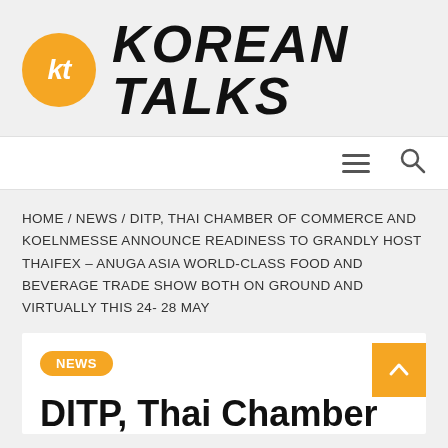[Figure (logo): Korean Talks logo: orange circle with 'kt' letters in white italic, followed by bold italic text 'KOREAN TALKS']
Navigation bar with hamburger menu and search icon
HOME / NEWS / DITP, THAI CHAMBER OF COMMERCE AND KOELNMESSE ANNOUNCE READINESS TO GRANDLY HOST THAIFEX – ANUGA ASIA WORLD-CLASS FOOD AND BEVERAGE TRADE SHOW BOTH ON GROUND AND VIRTUALLY THIS 24- 28 MAY
NEWS
DITP, Thai Chamber